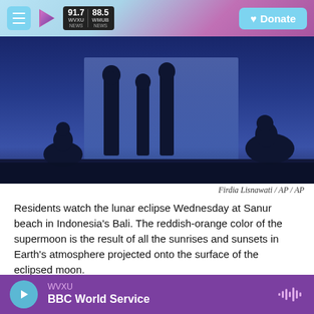WVXU 91.7 NEWS | WMUB 88.5 NEWS | Donate
[Figure (photo): Silhouettes of people watching the lunar eclipse at Sanur beach, Bali, Indonesia. Dark blue/navy background with human silhouettes visible against a lighter blue wall.]
Firdia Lisnawati / AP / AP
Residents watch the lunar eclipse Wednesday at Sanur beach in Indonesia's Bali. The reddish-orange color of the supermoon is the result of all the sunrises and sunsets in Earth's atmosphere projected onto the surface of the eclipsed moon.
People on both sides of the Pacific Ocean were able to see the total eclipse, from the Western U.S.
WVXU — BBC World Service